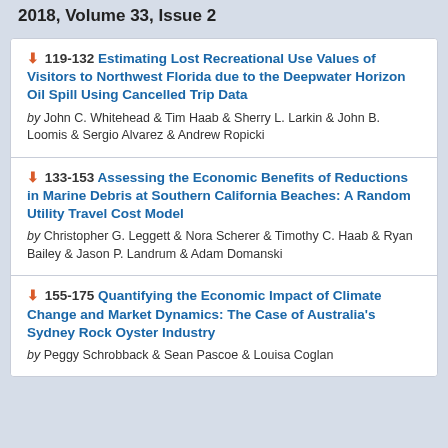2018, Volume 33, Issue 2
119-132 Estimating Lost Recreational Use Values of Visitors to Northwest Florida due to the Deepwater Horizon Oil Spill Using Cancelled Trip Data by John C. Whitehead & Tim Haab & Sherry L. Larkin & John B. Loomis & Sergio Alvarez & Andrew Ropicki
133-153 Assessing the Economic Benefits of Reductions in Marine Debris at Southern California Beaches: A Random Utility Travel Cost Model by Christopher G. Leggett & Nora Scherer & Timothy C. Haab & Ryan Bailey & Jason P. Landrum & Adam Domanski
155-175 Quantifying the Economic Impact of Climate Change and Market Dynamics: The Case of Australia's Sydney Rock Oyster Industry by Peggy Schrobback & Sean Pascoe & Louisa Coglan